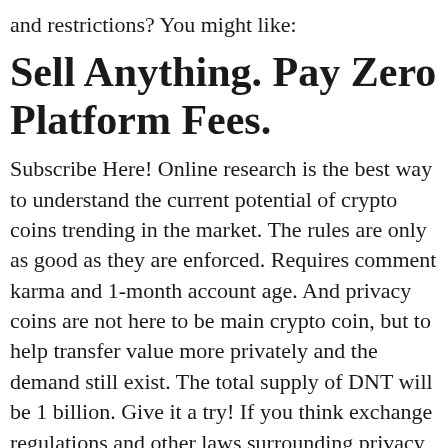and restrictions? You might like:
Sell Anything. Pay Zero Platform Fees.
Subscribe Here! Online research is the best way to understand the current potential of crypto coins trending in the market. The rules are only as good as they are enforced. Requires comment karma and 1-month account age. And privacy coins are not here to be main crypto coin, but to help transfer value more privately and the demand still exist. The total supply of DNT will be 1 billion. Give it a try! If you think exchange regulations and other laws surrounding privacy crypto are dangerous, wait until you see what